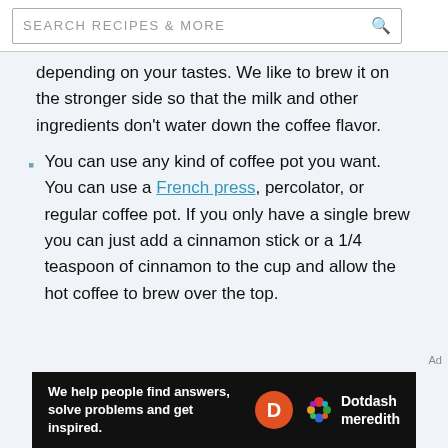SEARCH RECIPES & MORE
depending on your tastes. We like to brew it on the stronger side so that the milk and other ingredients don't water down the coffee flavor.
You can use any kind of coffee pot you want. You can use a French press, percolator, or regular coffee pot. If you only have a single brew you can just add a cinnamon stick or a 1/4 teaspoon of cinnamon to the cup and allow the hot coffee to brew over the top.
[Figure (other): Dotdash Meredith advertisement banner: 'We help people find answers, solve problems and get inspired.' with Dotdash Meredith logo]